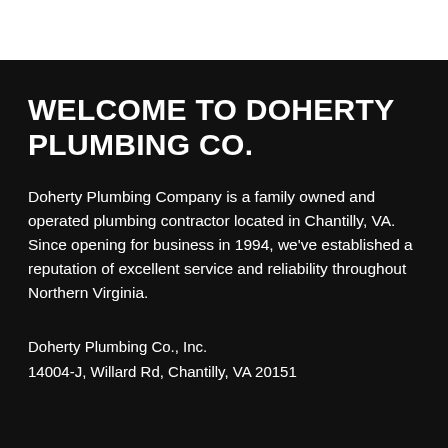WELCOME TO DOHERTY PLUMBING CO.
Doherty Plumbing Company is a family owned and operated plumbing contractor located in Chantilly, VA. Since opening for business in 1994, we've established a reputation of excellent service and reliability throughout Northern Virginia.
Doherty Plumbing Co., Inc.
14004-J, Willard Rd, Chantilly, VA 20151